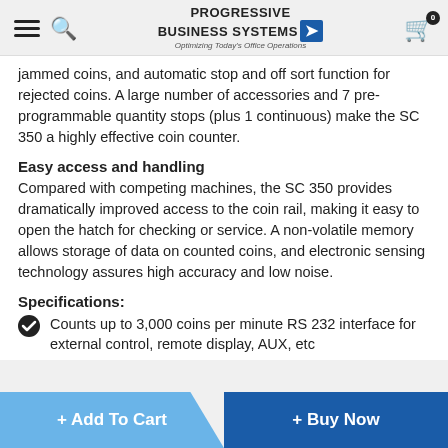Progressive Business Systems — Optimizing Today's Office Operations
jammed coins, and automatic stop and off sort function for rejected coins. A large number of accessories and 7 pre-programmable quantity stops (plus 1 continuous) make the SC 350 a highly effective coin counter.
Easy access and handling
Compared with competing machines, the SC 350 provides dramatically improved access to the coin rail, making it easy to open the hatch for checking or service. A non-volatile memory allows storage of data on counted coins, and electronic sensing technology assures high accuracy and low noise.
Specifications:
Counts up to 3,000 coins per minute RS 232 interface for external control, remote display, AUX, etc
Manual inspection tray
Pre-selectable bag stops
Non-volatile memory
Automatic reverse
+ Add To Cart   + Buy Now